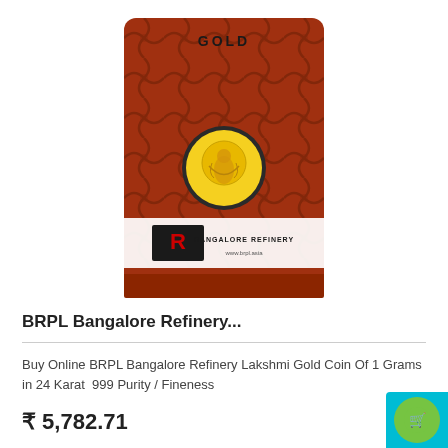[Figure (photo): BRPL Bangalore Refinery gold coin product card — red decorative card with Lakshmi gold coin in centre and Bangalore Refinery logo and www.brpl.asia text at bottom]
BRPL Bangalore Refinery...
Buy Online BRPL Bangalore Refinery Lakshmi Gold Coin Of 1 Grams in 24 Karat  999 Purity / Fineness
₹ 5,782.71